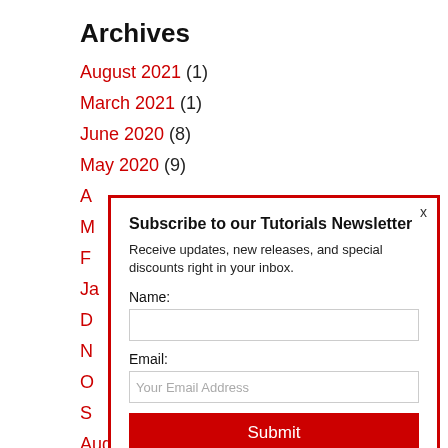Archives
August 2021 (1)
March 2021 (1)
June 2020 (8)
May 2020 (9)
A...
M...
F...
Ja...
D...
N...
O...
S...
August 2019 (9)
[Figure (screenshot): Modal dialog: Subscribe to our Tutorials Newsletter. Fields: Name, Email. Submit button.]